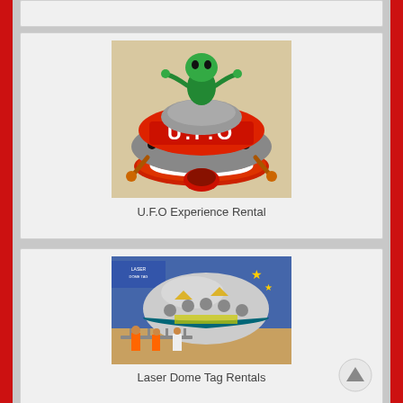[Figure (photo): Inflatable U.F.O. bouncer with green alien on top, red/gray flying saucer shape with tunnel entrance]
U.F.O Experience Rental
[Figure (photo): Large inflatable Laser Dome Tag structure in an indoor venue with people around it]
Laser Dome Tag Rentals